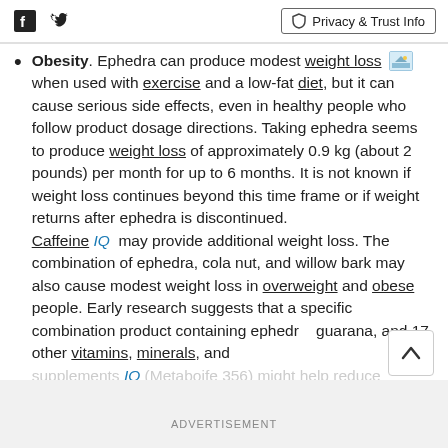Facebook Twitter | Privacy & Trust Info
Obesity. Ephedra can produce modest weight loss when used with exercise and a low-fat diet, but it can cause serious side effects, even in healthy people who follow product dosage directions. Taking ephedra seems to produce weight loss of approximately 0.9 kg (about 2 pounds) per month for up to 6 months. It is not known if weight loss continues beyond this time frame or if weight returns after ephedra is discontinued. Caffeine IQ may provide additional weight loss. The combination of ephedra, cola nut, and willow bark may also cause modest weight loss in overweight and obese people. Early research suggests that a specific combination product containing ephedra, guarana, and 17 other vitamins, minerals, and supplements IQ (Metaboife 356) might help reduce...